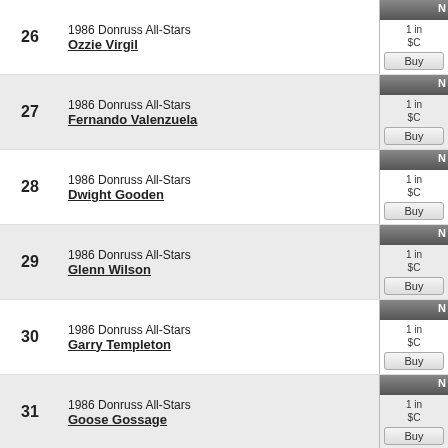26 1986 Donruss All-Stars Ozzie Virgil
27 1986 Donruss All-Stars Fernando Valenzuela
28 1986 Donruss All-Stars Dwight Gooden
29 1986 Donruss All-Stars Glenn Wilson
30 1986 Donruss All-Stars Garry Templeton
31 1986 Donruss All-Stars Goose Gossage